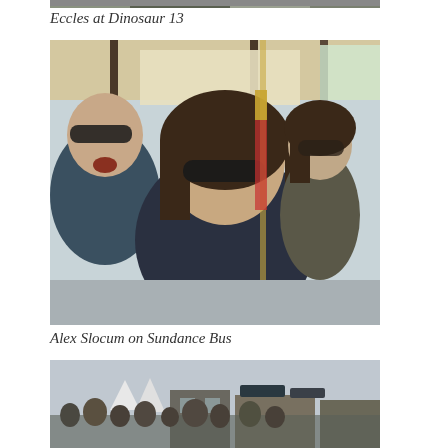[Figure (photo): Top portion of a photo showing people at Eccles theater at Dinosaur 13 screening (cropped, only bottom strip visible)]
Eccles at Dinosaur 13
[Figure (photo): Alex Slocum and others on the Sundance Bus, people wearing sunglasses, selfie-style photo taken inside a bus]
Alex Slocum on Sundance Bus
[Figure (photo): Outdoor crowd scene at Sundance festival, tents and buildings visible in background (cropped, only top portion visible)]